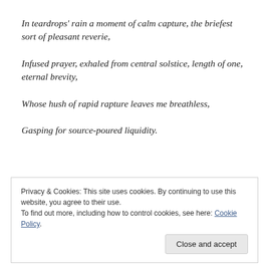In teardrops' rain a moment of calm capture, the briefest sort of pleasant reverie,
Infused prayer, exhaled from central solstice, length of one, eternal brevity,
Whose hush of rapid rapture leaves me breathless,
Gasping for source-poured liquidity.
Privacy & Cookies: This site uses cookies. By continuing to use this website, you agree to their use.
To find out more, including how to control cookies, see here: Cookie Policy
Close and accept